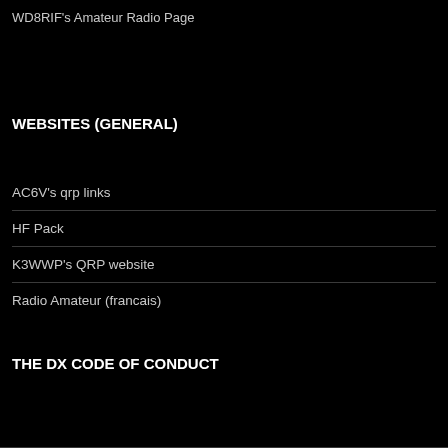WD8RIF's Amateur Radio Page
WEBSITES (GENERAL)
AC6V's qrp links
HF Pack
K3WWP's QRP website
Radio Amateur (francais)
THE DX CODE OF CONDUCT